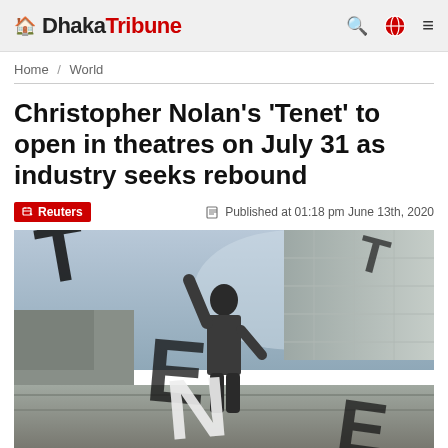Dhaka Tribune
Home / World
Christopher Nolan's 'Tenet' to open in theatres on July 31 as industry seeks rebound
Reuters — Published at 01:18 pm June 13th, 2020
[Figure (photo): Movie poster for Christopher Nolan's Tenet showing a person in a suit walking among large falling letters spelling TENET against a concrete architectural background]